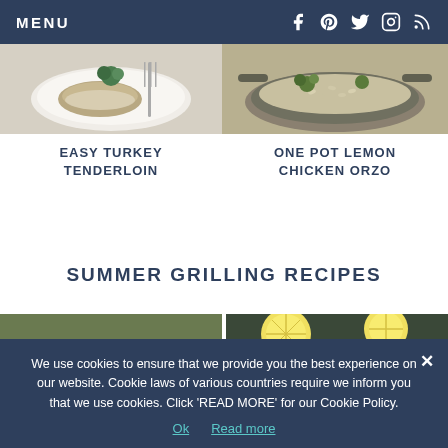MENU
EASY TURKEY TENDERLOIN
ONE POT LEMON CHICKEN ORZO
SUMMER GRILLING RECIPES
[Figure (photo): Grilled salmon with lemon slices and parsley]
[Figure (photo): Grilled lobster tails with lemon wedges]
We use cookies to ensure that we provide you the best experience on our website. Cookie laws of various countries require we inform you that we use cookies. Click 'READ MORE' for our Cookie Policy.
Ok   Read more